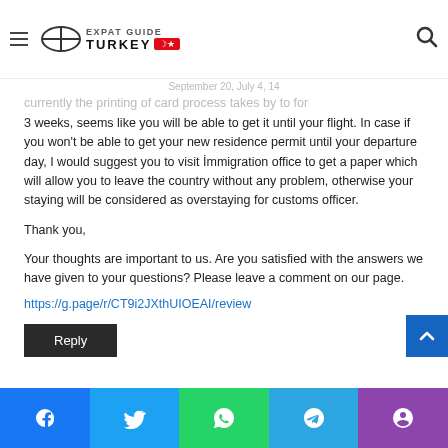Expat Guide Turkey
September 20, July 4, 14
currently the printing of card process takes around 3 weeks, seems like you will be able to get it until your flight. In case if you won't be able to get your new residence permit until your departure day, I would suggest you to visit İmmigration office to get a paper which will allow you to leave the country without any problem, otherwise your staying will be considered as overstaying for customs officer.
Thank you,
Your thoughts are important to us. Are you satisfied with the answers we have given to your questions? Please leave a comment on our page.
https://g.page/r/CT9i2JXthUIOEAI/review